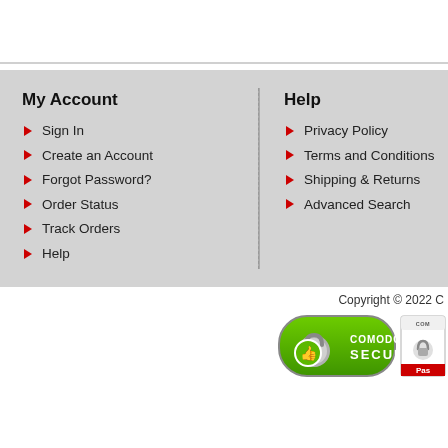My Account
Sign In
Create an Account
Forgot Password?
Order Status
Track Orders
Help
Help
Privacy Policy
Terms and Conditions
Shipping & Returns
Advanced Search
Copyright © 2022 C
[Figure (logo): Comodo Secure badge with padlock and thumbs up icon on green background]
[Figure (logo): Second security badge with padlock, COMODO text, and red Pas label]